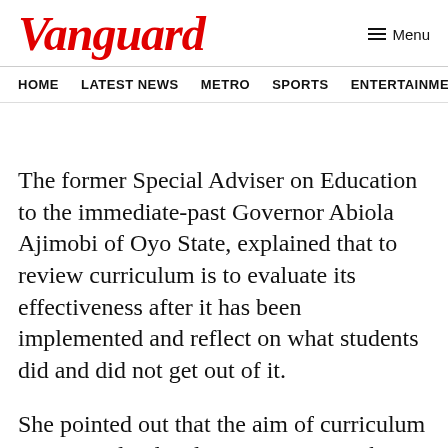Vanguard
Menu
HOME  LATEST NEWS  METRO  SPORTS  ENTERTAINMENT  VIDEOS
The former Special Adviser on Education to the immediate-past Governor Abiola Ajimobi of Oyo State, explained that to review curriculum is to evaluate its effectiveness after it has been implemented and reflect on what students did and did not get out of it.
She pointed out that the aim of curriculum review and redevelopment was to enhance student